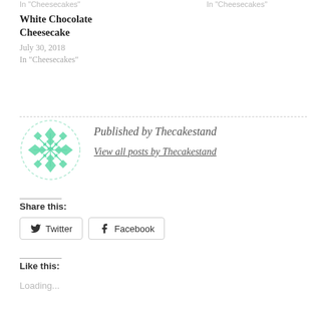In "Cheesecakes"    In "Cheesecakes"
White Chocolate Cheesecake
July 30, 2018
In "Cheesecakes"
Published by Thecakestand
View all posts by Thecakestand
Share this:
Twitter
Facebook
Like this:
Loading...